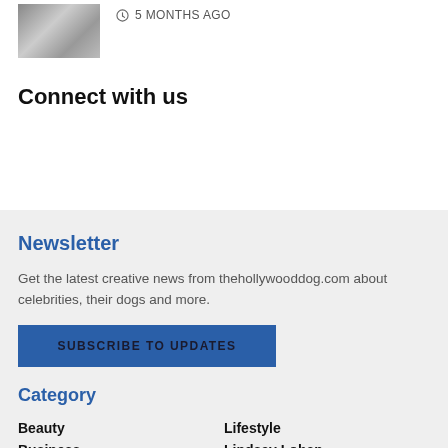[Figure (photo): Thumbnail image of a person with a dog, partially cropped]
5 MONTHS AGO
Connect with us
Newsletter
Get the latest creative news from thehollywooddog.com about celebrities, their dogs and more.
SUBSCRIBE TO UPDATES
Category
Beauty
Lifestyle
Business
Lindsay Lohan